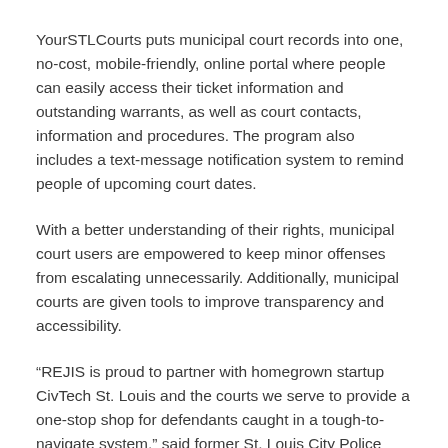YourSTLCourts puts municipal court records into one, no-cost, mobile-friendly, online portal where people can easily access their ticket information and outstanding warrants, as well as court contacts,  information and procedures. The program also includes a text-message notification system to remind people of upcoming court dates.
With a better understanding of their rights, municipal court users are empowered to keep minor offenses from escalating unnecessarily. Additionally, municipal courts are given tools to improve transparency and accessibility.
“REJIS is proud to partner with homegrown startup CivTech St. Louis and the courts we serve to provide a one-stop shop for defendants caught in a tough-to-navigate system,” said former St. Louis City Police Chief and current REJIS General Manager Dan Isom.